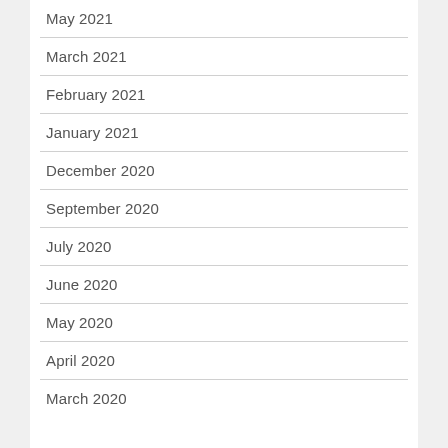May 2021
March 2021
February 2021
January 2021
December 2020
September 2020
July 2020
June 2020
May 2020
April 2020
March 2020